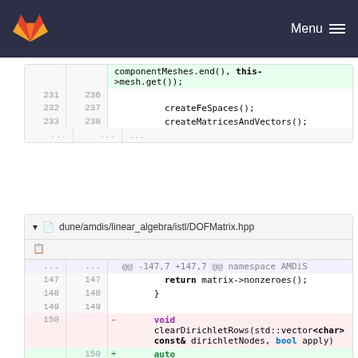GitLab Menu
[Figure (screenshot): Code diff block 1: lines 231-238 showing createFeSpaces() and createMatricesAndVectors() calls, with a highlighted continuation line showing componentMeshes.end(), this->mesh.get());]
[Figure (screenshot): Code diff block 2 for dune/amdis/linear_algebra/istl/DOFMatrix.hpp showing lines 147-150, with a red removed line 'void clearDirichletRows(std::vector<char> const& dirichletNodes, bool apply)' and a green added line 'auto clearDirichletRows(std::vector<char> const& dirichletNodes, bool apply)']